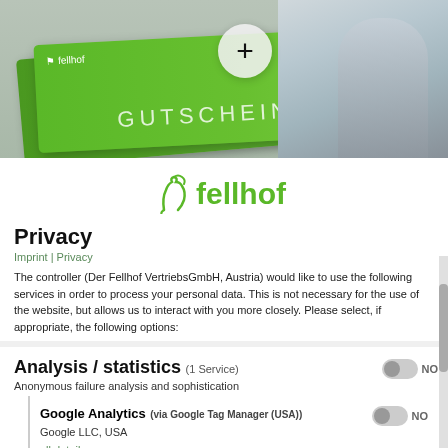[Figure (photo): Fellhof gift voucher (Gutschein) promotional banner with green cards and a woman in winter clothing on the right side, plus a circle with + symbol]
[Figure (logo): Fellhof brand logo in green showing stylized animal and the text fellhof]
Privacy
Imprint | Privacy
The controller (Der Fellhof VertriebsGmbH, Austria) would like to use the following services in order to process your personal data. This is not necessary for the use of the website, but allows us to interact with you more closely. Please select, if appropriate, the following options:
Analysis / statistics (1 Service)
Anonymous failure analysis and sophistication
Google Analytics (via Google Tag Manager (USA))
Google LLC, USA
all details
Targeting / profiling / advertising (1 Service)
Personalized advertising outside our website
Google Ads (via Google Tag Manager (USA))